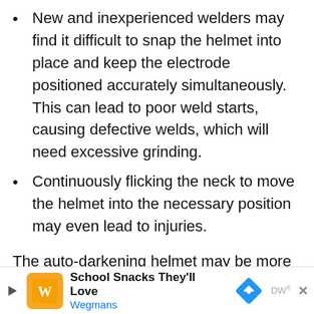New and inexperienced welders may find it difficult to snap the helmet into place and keep the electrode positioned accurately simultaneously. This can lead to poor weld starts, causing defective welds, which will need excessive grinding.
Continuously flicking the neck to move the helmet into the necessary position may even lead to injuries.
The auto-darkening helmet may be more expensive, but it solves all these issues. When the helmet is inactive, the lens usually has a shade of #3 or #4. This is relatively easy to see through, even indoors. When an arc is
[Figure (other): Advertisement banner for Wegmans 'School Snacks They'll Love' with logo and navigation arrow icon]